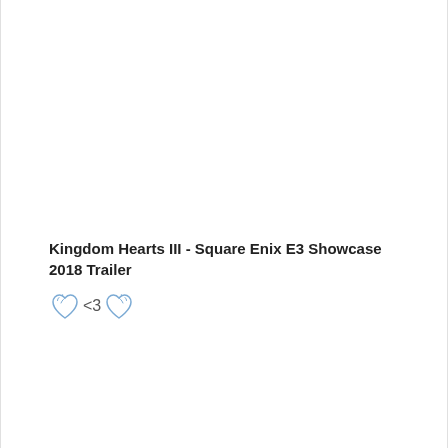Kingdom Hearts III - Square Enix E3 Showcase 2018 Trailer
🤍 <3 🤍